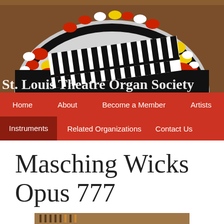[Figure (logo): St. Louis Theatre Organ Society logo — semicircular stylized organ keyboard with red, yellow, white and black decorative elements on a gray background with wood-tone surround. White text overlay reads 'St. Louis Theatre Organ Society'.]
Home  About  Become a Member  Artists  Instruments  Related Organizations  Contact Us
Masching Wicks Opus 777
[Figure (photo): Partial view of organ instrument interior or console, cropped at bottom of page.]